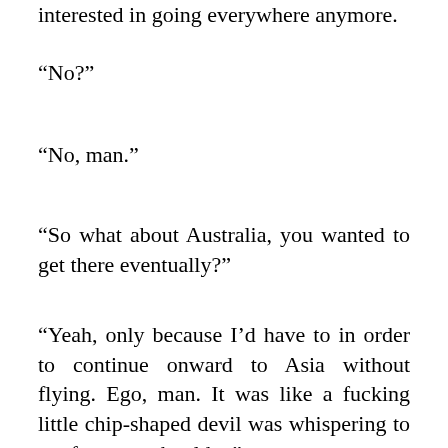interested in going everywhere anymore.
“No?”
“No, man.”
“So what about Australia, you wanted to get there eventually?”
“Yeah, only because I’d have to in order to continue onward to Asia without flying. Ego, man. It was like a fucking little chip-shaped devil was whispering to me from my shoulder.”